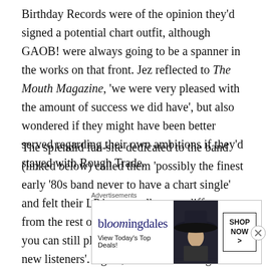Birthday Records were of the opinion they'd signed a potential chart outfit, although GAOB! were always going to be a spanner in the works on that front. Jez reflected to The Mouth Magazine, 'we were very pleased with the amount of success we did have', but also wondered if they might have been better served regarding their own ambitions if they'd stayed with Rough Trade.
The splendid fan-site dedicated to the band (linked below) called them 'possibly the finest early '80s band never to have a chart single' and felt their LP 'was an album so different from the rest of the post-punk indie pack that you can still play it now and completely baffle new listeners'. Again, there's something in that. And Pleasure is all ours.
Advertisements
[Figure (other): Bloomingdale's advertisement banner showing logo, 'View Today's Top Deals!' text, woman with large hat, and 'SHOP NOW >' button]